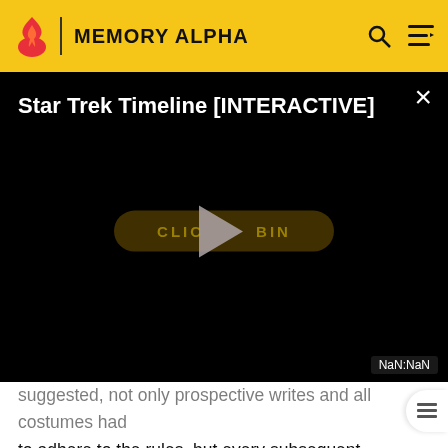MEMORY ALPHA
[Figure (screenshot): Video player overlay showing 'Star Trek Timeline [INTERACTIVE]' title on black background with a play button and 'CLICK TO BEGIN' button partially overlaid by play arrow. NaN:NaN timestamp shown in bottom right.]
suggested, not only prospective writes and all costumes had to adhere to the rules, but every subsequent production aspect as well, and it was Berman who, in his role of the primary responsible overseer, had the final say whether or not designs of items like sets, props, visual effects, costumes and the like, met with his interpretation of the